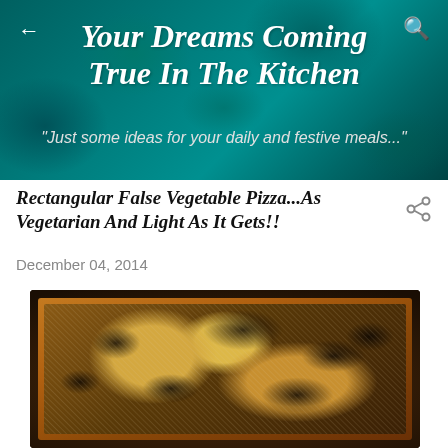Your Dreams Coming True In The Kitchen
"Just some ideas for your daily and festive meals..."
Rectangular False Vegetable Pizza...As Vegetarian And Light As It Gets!!
December 04, 2014
[Figure (photo): A rectangular baked vegetable pizza in a dark baking tray, covered with dark cooked vegetables and grated cheese on top, golden crust visible around the edges.]